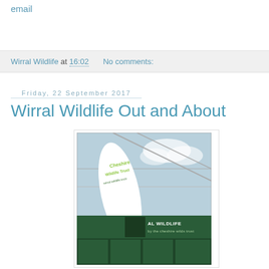email
Wirral Wildlife at 16:02   No comments:
Friday, 22 September 2017
Wirral Wildlife Out and About
[Figure (photo): Photo of a Cheshire Wildlife Trust banner/flag at an outdoor event tent/greenhouse, with green banners reading 'WIRRAL WILDLIFE' visible in the background]